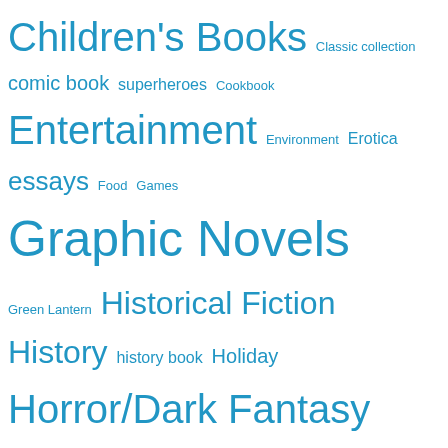[Figure (infographic): Tag cloud of book genre and category terms in various font sizes, all in blue. Terms include Children's Books, Classic collection, comic book superheroes, Cookbook, Entertainment, Environment, Erotica, essays, Food, Games, Graphic Novels, Green Lantern, Historical Fiction, History, history book, Holiday, Horror/Dark Fantasy, Humor, Lantern Corps, Literature, Magic, Memoir, Middle Grade, Military, Music, Mystery, Mythology/Legend, Nature, non-fiction, Paranormal, Paul S. Kemp, Photography, Picture books, Plays, Poetry, pulp fiction, quotes, random thoughts, Religion, Reviews, Romance, science fiction, Sex, SF/Fantasy, Short Fiction, Short Stories, Short]